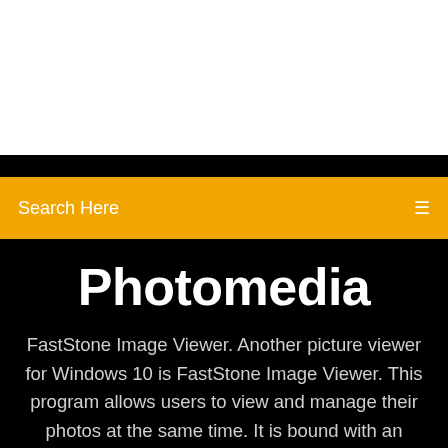Search Here
Photomedia
FastStone Image Viewer. Another picture viewer for Windows 10 is FastStone Image Viewer. This program allows users to view and manage their photos at the same time. It is bound with an image editor so users can do some quick fixes to their images like red eye removal, cropping, etc.